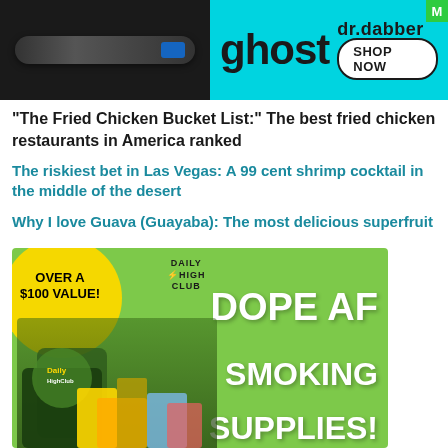[Figure (infographic): Top banner advertisement for Dr. Dabber Ghost vape pen with cyan/teal background, showing vape pen image on dark left side and ghost/dr.dabber branding with SHOP NOW button on right]
“The Fried Chicken Bucket List:” The best fried chicken restaurants in America ranked
The riskiest bet in Las Vegas: A 99 cent shrimp cocktail in the middle of the desert
Why I love Guava (Guayaba): The most delicious superfruit
[Figure (infographic): Daily High Club advertisement with green background showing DOPE AF SMOKING SUPPLIES text, cannabis products, Over a $100 Value yellow circle badge]
[Figure (infographic): Bottom banner showing Top Choice Cannabis Flower cans on left dark background, and Lightning Labels Shop Now Save 25% On Your First Order use code LEAF25 on right dark background]